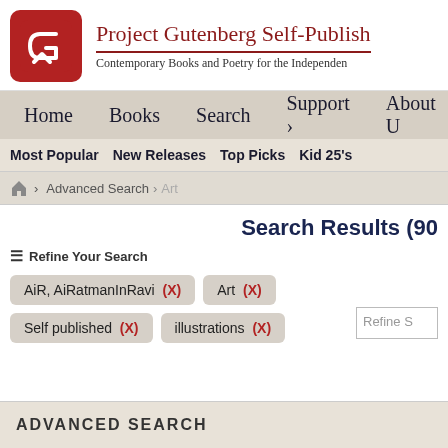Project Gutenberg Self-Publishing Press — Contemporary Books and Poetry for the Independent Author
Home | Books | Search | Support | About Us
Most Popular | New Releases | Top Picks | Kid 25's
Home > Advanced Search > Art
Search Results (90
Refine Your Search
AiR, AiRatmanInRavi (X)   Art (X)   Self published (X)   illustrations (X)
ADVANCED SEARCH